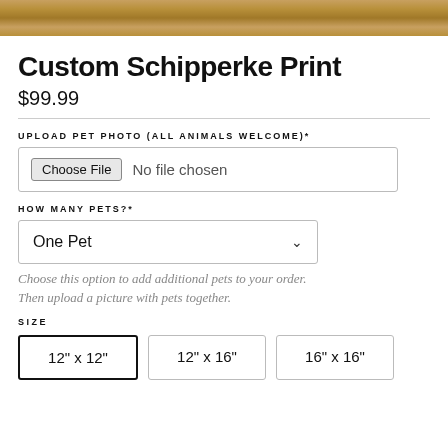[Figure (photo): Wooden texture image strip at top of page]
Custom Schipperke Print
$99.99
UPLOAD PET PHOTO (ALL ANIMALS WELCOME)*
Choose File  No file chosen
HOW MANY PETS?*
One Pet
Choose this option to add additional pets to your order. Then upload a picture with pets together.
SIZE
12" x 12"  12" x 16"  16" x 16"